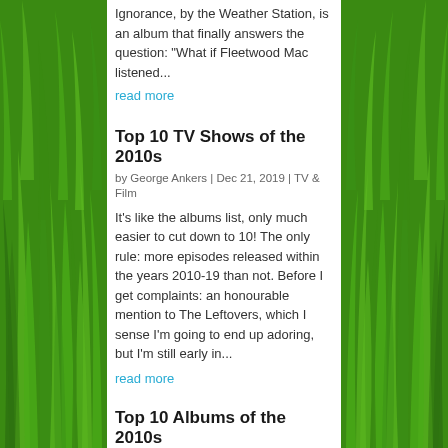Ignorance, by the Weather Station, is an album that finally answers the question: "What if Fleetwood Mac listened...
read more
Top 10 TV Shows of the 2010s
by George Ankers | Dec 21, 2019 | TV & Film
It's like the albums list, only much easier to cut down to 10! The only rule: more episodes released within the years 2010-19 than not. Before I get complaints: an honourable mention to The Leftovers, which I sense I'm going to end up adoring, but I'm still early in...
read more
Top 10 Albums of the 2010s
by George Ankers | Dec 14, 2019 | Music